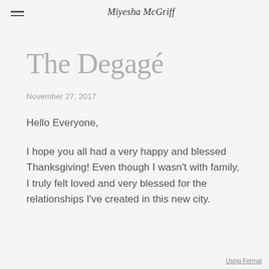Miyesha McGriff
The Degagé
November 27, 2017
Hello Everyone,
I hope you all had a very happy and blessed Thanksgiving!  Even though I wasn't with family, I truly felt loved and very blessed for the relationships I've created in this new city.
Using Format